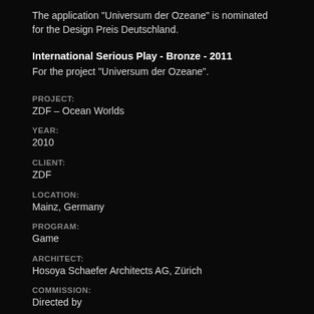The application "Universum der Ozeane" is nominated for the Design Preis Deutschland.
International Serious Play - Bronze - 2011
For the project “Universum der Ozeane”.
PROJECT:
ZDF – Ocean Worlds
YEAR:
2010
CLIENT:
ZDF
LOCATION:
Mainz, Germany
PROGRAM:
Game
ARCHITECT:
Hosoya Schaefer Architects AG, Zürich
COMMISSION:
Directed by